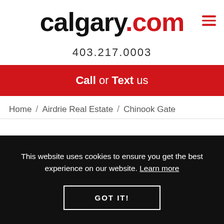[Figure (logo): calgary.com logo with 'calgary.' in black bold and '.com' in red bold, with a red hamburger menu icon on the right]
403.217.0003
Call or Text us
Home / Airdrie Real Estate / Chinook Gate
This website uses cookies to ensure you get the best experience on our website. Learn more
GOT IT!